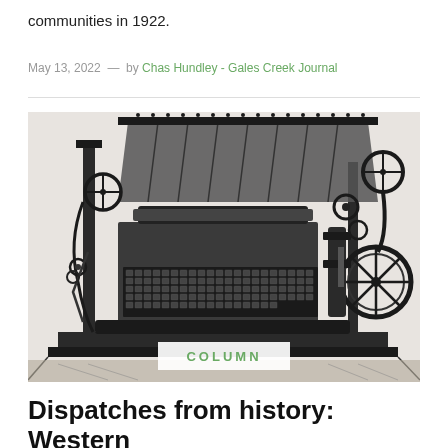communities in 1922.
May 13, 2022  —  by Chas Hundley - Gales Creek Journal
[Figure (photo): Black and white engraving or illustration of an old printing press machine with mechanical components, gears, rollers, and a keyboard-like typesetting mechanism. A white overlay badge reads 'COLUMN' in green letters.]
Dispatches from history: Western